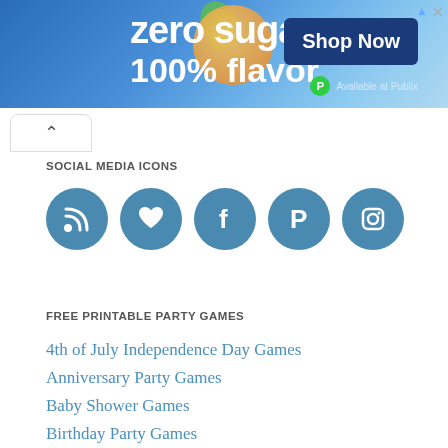[Figure (illustration): Snapple advertisement banner: zero sugar 100% flavor, Shop Now button, Available at Publix]
[Figure (illustration): Collapse/toggle button with up caret]
SOCIAL MEDIA ICONS
[Figure (illustration): Row of 5 teal social media icon circles: RSS, heart/Bloglovin, Facebook, Pinterest, Instagram]
FREE PRINTABLE PARTY GAMES
4th of July Independence Day Games
Anniversary Party Games
Baby Shower Games
Birthday Party Games